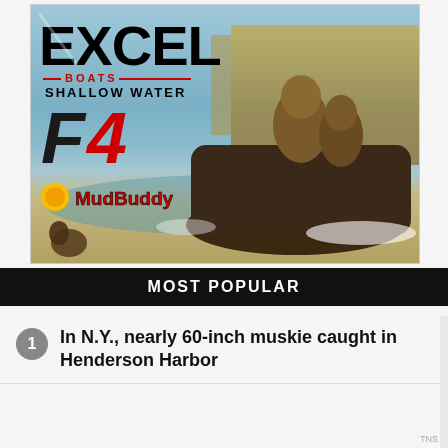[Figure (photo): Advertisement for Excel Boats Shallow Water F4 featuring hunters in camouflage gear riding a mud boat through shallow water with reeds in the background. Logos for Excel Boats and MudBuddy are visible.]
MOST POPULAR
1. In N.Y., nearly 60-inch muskie caught in Henderson Harbor